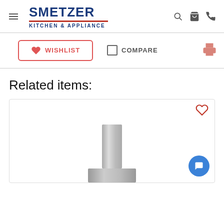Smetzer Kitchen & Appliance — navigation header with logo, search, cart, and phone icons
WISHLIST  COMPARE  (print icon)
Related items:
[Figure (photo): Product image of a stainless steel range hood/chimney appliance inside a product card with a heart/wishlist icon in the top right and a blue chat bubble button in the bottom right]